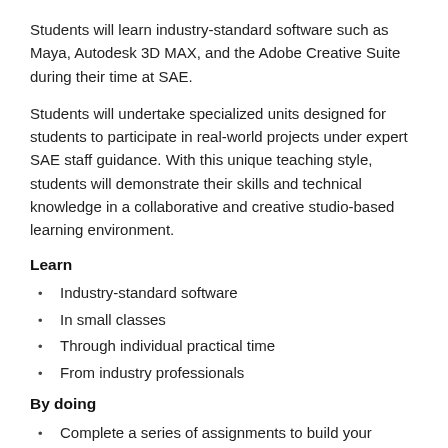Students will learn industry-standard software such as Maya, Autodesk 3D MAX, and the Adobe Creative Suite during their time at SAE.
Students will undertake specialized units designed for students to participate in real-world projects under expert SAE staff guidance. With this unique teaching style, students will demonstrate their skills and technical knowledge in a collaborative and creative studio-based learning environment.
Learn
Industry-standard software
In small classes
Through individual practical time
From industry professionals
By doing
Complete a series of assignments to build your visual, technical, and artistic skills
In a creative hub collaborating with students from other